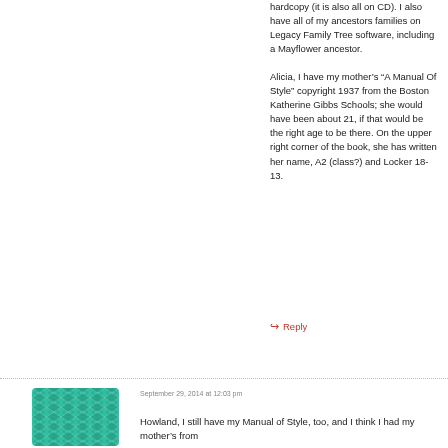hardcopy (it is also all on CD). I also have all of my ancestors families on Legacy Family Tree software, including a Mayflower ancestor.
Alicia, I have my mother's “A Manual Of Style” copyright 1937 from the Boston Katherine Gibbs Schools; she would have been about 21, if that would be the right age to be there. On the upper right corner of the book, she has written her name, A2 (class?) and Locker 18-13.
↪ Reply
September 29, 2014 at 12:03 pm
[Figure (other): Green geometric quilt-pattern avatar icon]
Howland, I still have my Manual of Style, too, and I think I had my mother’s from